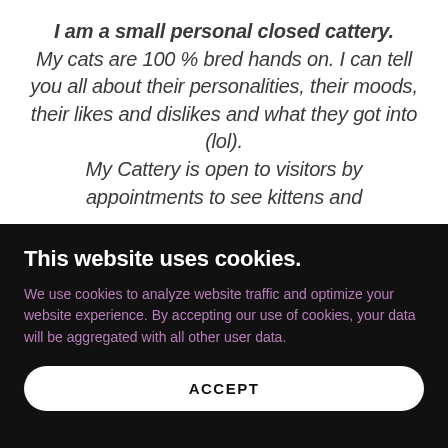I am a small personal closed cattery. My cats are 100 % bred hands on. I can tell you all about their personalities, their moods, their likes and dislikes and what they got into (lol). My Cattery is open to visitors by appointments to see kittens and
This website uses cookies.
We use cookies to analyze website traffic and optimize your website experience. By accepting our use of cookies, your data will be aggregated with all other user data.
ACCEPT